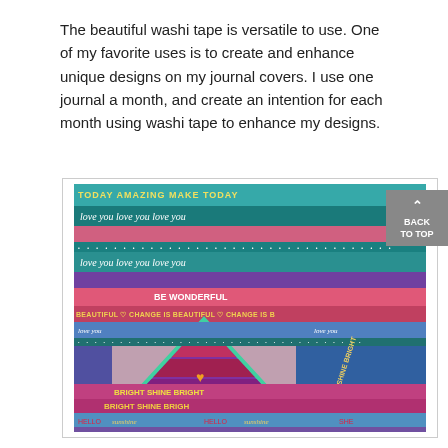The beautiful washi tape is versatile to use. One of my favorite uses is to create and enhance unique designs on my journal covers. I use one journal a month, and create an intention for each month using washi tape to enhance my designs.
[Figure (photo): A colorful journal cover decorated with multiple strips of washi tape featuring text patterns such as 'love you', 'BE WONDERFUL', 'BRIGHT SHINE BRIGHT', 'HELLO sunshine', 'WONDERFUL', and a large teal triangle shape in the center made of washi tape.]